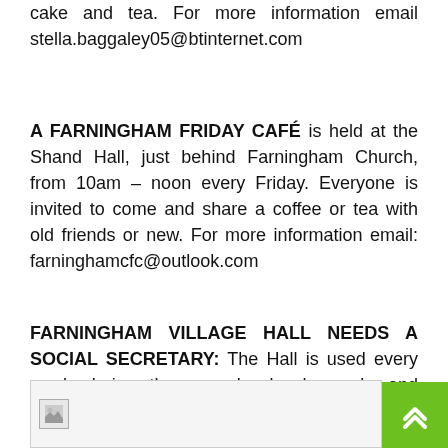cake and tea. For more information email stella.baggaley05@btinternet.com
A FARNINGHAM FRIDAY CAFÉ is held at the Shand Hall, just behind Farningham Church, from 10am – noon every Friday. Everyone is invited to come and share a coffee or tea with old friends or new. For more information email: farninghamcfc@outlook.com
FARNINGHAM VILLAGE HALL NEEDS A SOCIAL SECRETARY: The Hall is used every week during the year by local people and community groups for many different activities, such as yoga, dance, music, meetings, performances and productions.
[Figure (photo): Image placeholder strip at the bottom of the page with a small image icon]